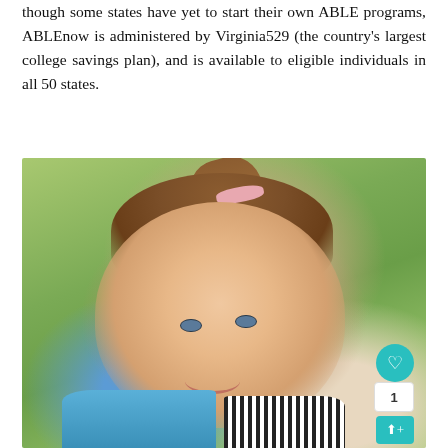though some states have yet to start their own ABLE programs, ABLEnow is administered by Virginia529 (the country's largest college savings plan), and is available to eligible individuals in all 50 states.
[Figure (photo): Portrait photo of a young smiling girl with brown hair in a ponytail secured with a pink bow clip, wearing a blue shirt, with a blurred green background. Social media UI overlay elements visible in bottom-right corner including a heart/like button, count of 1, and share button.]